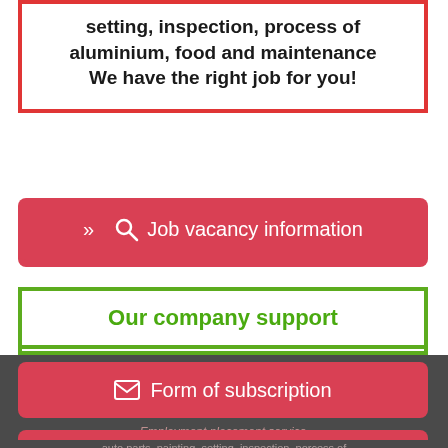setting, inspection, process of aluminium, food and maintenance We have the right job for you!
Job vacancy information
Our company support
Form of subscription
Employment placement service
For more informations call us
auto parts, painting, setting, inspection, porcess of